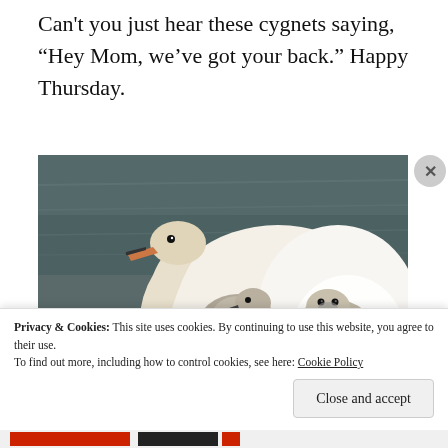Can’t you just hear these cygnets saying, “Hey Mom, we’ve got your back.” Happy Thursday.
[Figure (photo): A white adult swan with two fluffy grey cygnets nestled on its back and side, floating on water. The cygnets have small dark eyes and beaks. The image is a close-up wildlife photo.]
Privacy & Cookies: This site uses cookies. By continuing to use this website, you agree to their use.
To find out more, including how to control cookies, see here: Cookie Policy
Close and accept